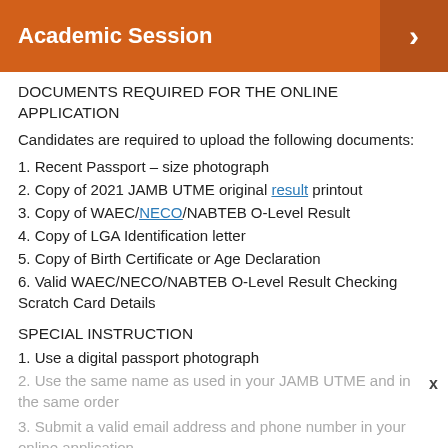Academic Session
DOCUMENTS REQUIRED FOR THE ONLINE APPLICATION
Candidates are required to upload the following documents:
1. Recent Passport – size photograph
2. Copy of 2021 JAMB UTME original result printout
3. Copy of WAEC/NECO/NABTEB O-Level Result
4. Copy of LGA Identification letter
5. Copy of Birth Certificate or Age Declaration
6. Valid WAEC/NECO/NABTEB O-Level Result Checking Scratch Card Details
SPECIAL INSTRUCTION
1. Use a digital passport photograph
2. Use the same name as used in your JAMB UTME and in the same order
3. Submit a valid email address and phone number in your online application